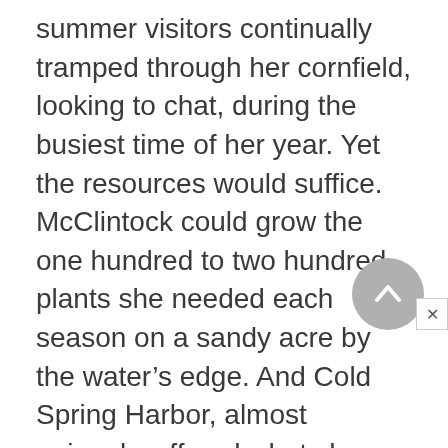summer visitors continually tramped through her cornfield, looking to chat, during the busiest time of her year. Yet the resources would suffice. McClintock could grow the one hundred to two hundred plants she needed each season on a sandy acre by the water's edge. And Cold Spring Harbor, almost uniquely, offered what she needed more than land or privacy: freedom from teaching, administration, and grant writing. She had nothing to do but science. The whole place was hers.